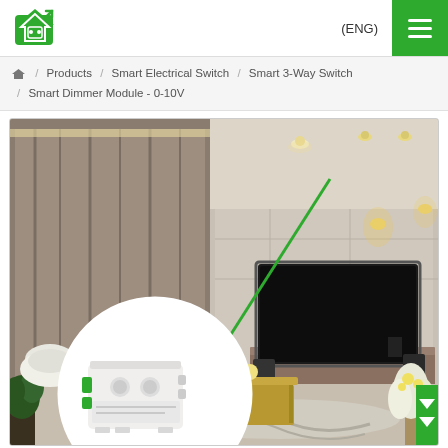(ENG)
Products / Smart Electrical Switch / Smart 3-Way Switch / Smart Dimmer Module - 0-10V
[Figure (photo): Product photo of Smart Dimmer Module 0-10V shown in a living room scene. A white dimmer module device is highlighted in a circular inset in the lower left. A green diagonal line points from the device up toward the ceiling lights in the room. The room has curtains on the left, a TV on the right wall, a wooden coffee table, and decorative rug.]